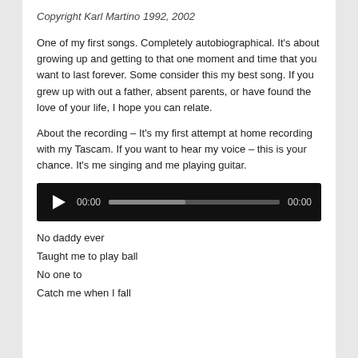Copyright Karl Martino 1992, 2002
One of my first songs. Completely autobiographical. It's about growing up and getting to that one moment and time that you want to last forever. Some consider this my best song. If you grew up with out a father, absent parents, or have found the love of your life, I hope you can relate.
About the recording – It's my first attempt at home recording with my Tascam. If you want to hear my voice – this is your chance. It's me singing and me playing guitar.
[Figure (other): Audio player with play button, time display 00:00, progress bar, and end time 00:00 on black background]
No daddy ever
Taught me to play ball
No one to
Catch me when I fall